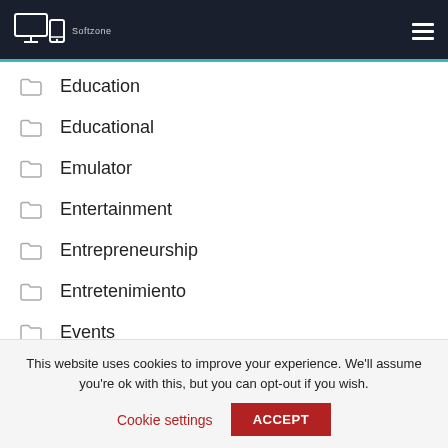Softzone
Education
Educational
Emulator
Entertainment
Entrepreneurship
Entretenimiento
Events
This website uses cookies to improve your experience. We'll assume you're ok with this, but you can opt-out if you wish.
Cookie settings  ACCEPT